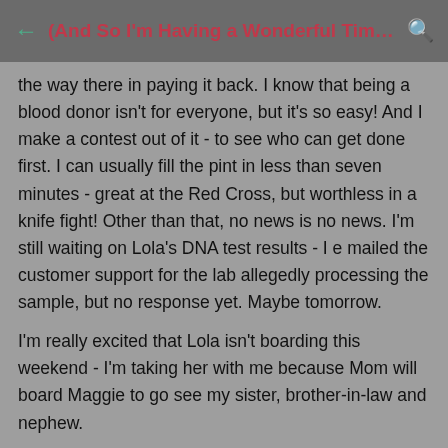(And So I'm Having a Wonderful Time, But I...
the way there in paying it back. I know that being a blood donor isn't for everyone, but it's so easy! And I make a contest out of it - to see who can get done first. I can usually fill the pint in less than seven minutes - great at the Red Cross, but worthless in a knife fight! Other than that, no news is no news. I'm still waiting on Lola's DNA test results - I e mailed the customer support for the lab allegedly processing the sample, but no response yet. Maybe tomorrow.
I'm really excited that Lola isn't boarding this weekend - I'm taking her with me because Mom will board Maggie to go see my sister, brother-in-law and nephew.